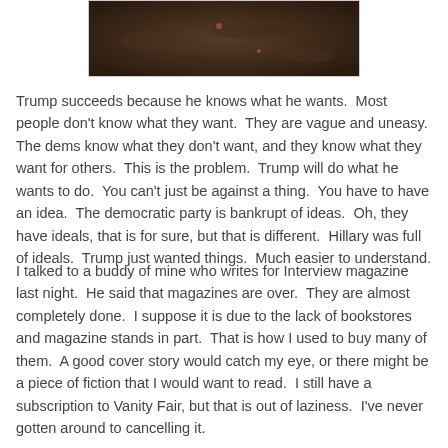[Figure (photo): A dark photograph showing a ground-level view of soil and leaf litter, partially visible at the top of the page.]
Trump succeeds because he knows what he wants.  Most people don't know what they want.  They are vague and uneasy.  The dems know what they don't want, and they know what they want for others.  This is the problem.  Trump will do what he wants to do.  You can't just be against a thing.  You have to have an idea.  The democratic party is bankrupt of ideas.  Oh, they have ideals, that is for sure, but that is different.  Hillary was full of ideals.  Trump just wanted things.  Much easier to understand.
I talked to a buddy of mine who writes for Interview magazine last night.  He said that magazines are over.  They are almost completely done.  I suppose it is due to the lack of bookstores and magazine stands in part.  That is how I used to buy many of them.  A good cover story would catch my eye, or there might be a piece of fiction that I would want to read.  I still have a subscription to Vanity Fair, but that is out of laziness.  I've never gotten around to cancelling it.